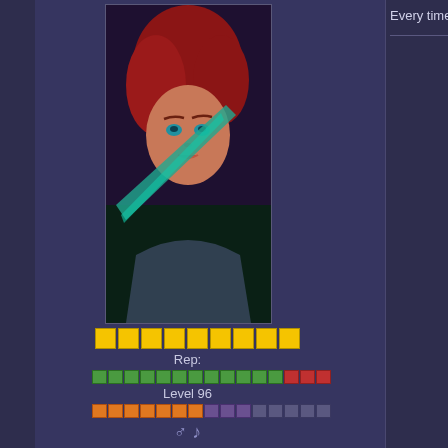[Figure (screenshot): Forum thread screenshot showing two posts. Top post has an anime-style avatar of a red-haired character with teal highlights, reputation bars, Level 96 indicator, and exp bar. Right side shows partial post text. Bottom post is from user 'Zylos' with a white wolf furry avatar, post #12 dated May 19 2010, containing the text 'Rawr~ *limpwrist*' and an embedded image of a white wolf character.]